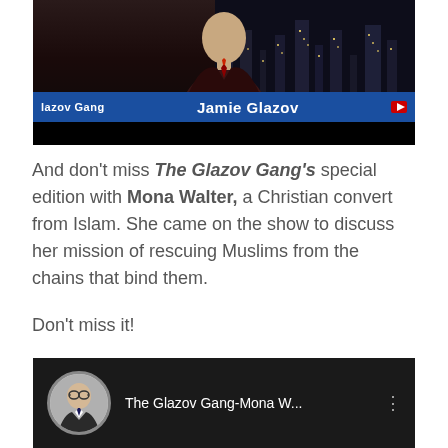[Figure (screenshot): Video screenshot showing a man in a suit with a city background and a blue lower-third name bar reading 'lazov Gang' on left and 'Jamie Glazov' in center, with a red YouTube icon on the right, and a black strip below.]
And don't miss The Glazov Gang's special edition with Mona Walter, a Christian convert from Islam. She came on the show to discuss her mission of rescuing Muslims from the chains that bind them.
Don't miss it!
[Figure (screenshot): YouTube video thumbnail showing a circular avatar of a bald man in a suit on the left, and white text reading 'The Glazov Gang-Mona W...' with a vertical three-dot menu icon on a dark background.]